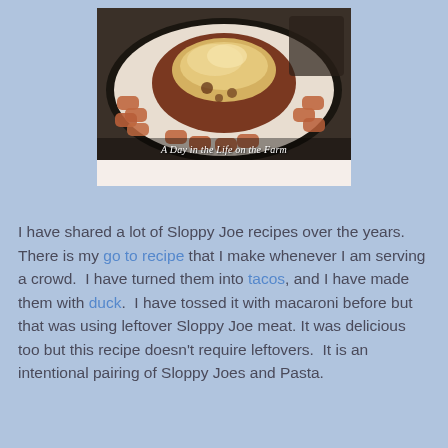[Figure (photo): A dark bowl/plate filled with rigatoni pasta topped with meat sauce and shredded cheese, with a semi-circular arrangement of pasta tubes around the edge. Caption overlay reads 'A Day in the Life on the Farm'.]
I have shared a lot of Sloppy Joe recipes over the years. There is my go to recipe that I make whenever I am serving a crowd.  I have turned them into tacos, and I have made them with duck.  I have tossed it with macaroni before but that was using leftover Sloppy Joe meat. It was delicious too but this recipe doesn't require leftovers.  It is an intentional pairing of Sloppy Joes and Pasta.